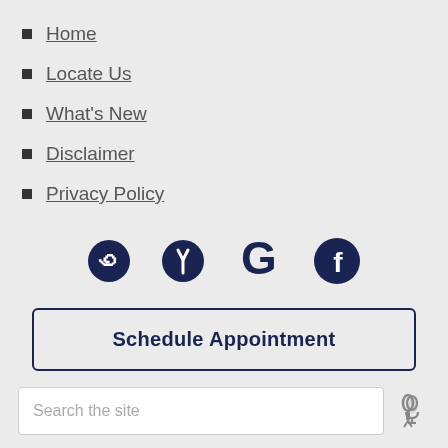Home
Locate Us
What's New
Disclaimer
Privacy Policy
[Figure (illustration): Social media icons: Yelp, Google, Facebook in dark navy color]
Schedule Appointment
Search the site
Michael L. Smookler, O.D.